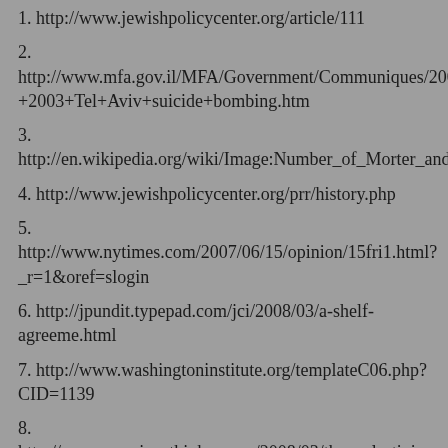1. http://www.jewishpolicycenter.org/article/111
2. http://www.mfa.gov.il/MFA/Government/Communiques/2003/Details+of+April+30-+2003+Tel+Aviv+suicide+bombing.htm
3. http://en.wikipedia.org/wiki/Image:Number_of_Morter_and_Rocket_Attacks_2001_to_early_2008V2.jpg
4. http://www.jewishpolicycenter.org/prr/history.php
5. http://www.nytimes.com/2007/06/15/opinion/15fri1.html?_r=1&oref=slogin
6. http://jpundit.typepad.com/jci/2008/03/a-shelf-agreeme.html
7. http://www.washingtoninstitute.org/templateC06.php?CID=1139
8. http://www.americanthinker.com/2008/03/the_palestinians_have_no_inter.html
9. http://www.spiegel.de/international/0%2c1518%2c455254%2c00.html